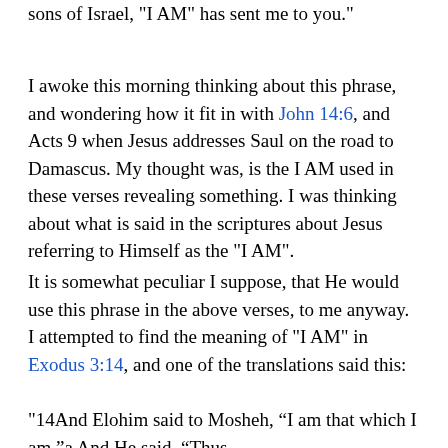sons of Israel, "I AM" has sent me to you."
I awoke this morning thinking about this phrase, and wondering how it fit in with John 14:6, and Acts 9 when Jesus addresses Saul on the road to Damascus. My thought was, is the I AM used in these verses revealing something. I was thinking about what is said in the scriptures about Jesus referring to Himself as the "I AM".
It is somewhat peculiar I suppose, that He would use this phrase in the above verses, to me anyway. I attempted to find the meaning of "I AM" in Exodus 3:14, and one of the translations said this:
"14And Elohim said to Mosheh, “I am that which I am.”a And He said, “Thus